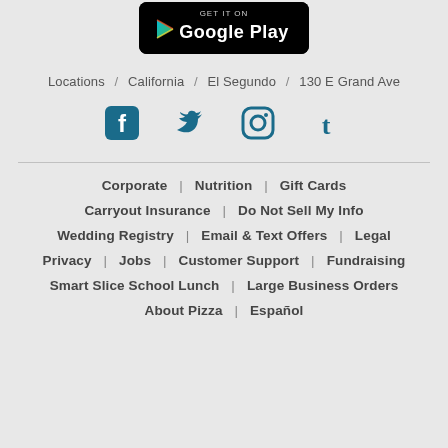[Figure (logo): Google Play store badge - black rounded rectangle with Google Play triangle logo and text GET IT ON Google Play]
Locations / California / El Segundo / 130 E Grand Ave
[Figure (infographic): Four social media icons in teal/dark cyan: Facebook, Twitter, Instagram, Tumblr]
Corporate | Nutrition | Gift Cards | Carryout Insurance | Do Not Sell My Info | Wedding Registry | Email & Text Offers | Legal | Privacy | Jobs | Customer Support | Fundraising | Smart Slice School Lunch | Large Business Orders | About Pizza | Español